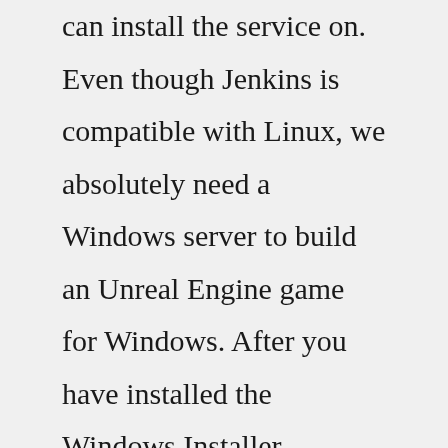can install the service on. Even though Jenkins is compatible with Linux, we absolutely need a Windows server to build an Unreal Engine game for Windows. After you have installed the Windows Installer Package available over here and typed localhost:8080 in your favorite browser, you ... Download the licensee repro here - [Link Removed] Either use the cook_development_client_win64.cmd provided by the licensee, or extract and run